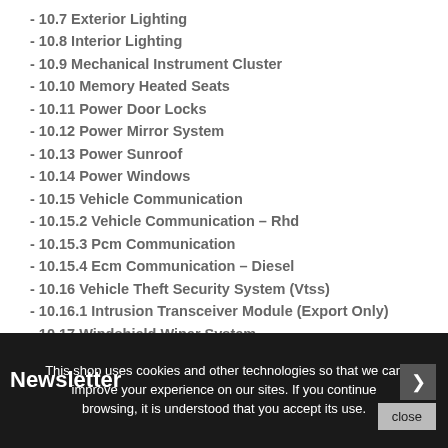- 10.7 Exterior Lighting
- 10.8 Interior Lighting
- 10.9 Mechanical Instrument Cluster
- 10.10 Memory Heated Seats
- 10.11 Power Door Locks
- 10.12 Power Mirror System
- 10.13 Power Sunroof
- 10.14 Power Windows
- 10.15 Vehicle Communication
- 10.15.2 Vehicle Communication – Rhd
- 10.15.3 Pcm Communication
- 10.15.4 Ecm Communication – Diesel
- 10.16 Vehicle Theft Security System (Vtss)
- 10.16.1 Intrusion Transceiver Module (Export Only)
- 10.17 Windshield Wiper System
This shop uses cookies and other technologies so that we can improve your experience on our sites. If you continue browsing, it is understood that you accept its use.